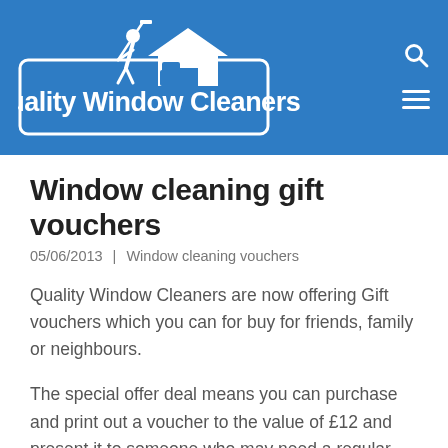[Figure (logo): Quality Window Cleaners logo on blue background with silhouette of window cleaner, van and house, white text in rounded rectangle border]
Window cleaning gift vouchers
05/06/2013  |  Window cleaning vouchers
Quality Window Cleaners are now offering Gift vouchers which you can for buy for friends, family or neighbours.
The special offer deal means you can purchase and print out a voucher to the value of £12 and present it to someone who may need a regular window cleaner. It makes a thoughtful gift and saves the recipient money while at the same time you can also eligible to have a free clean.